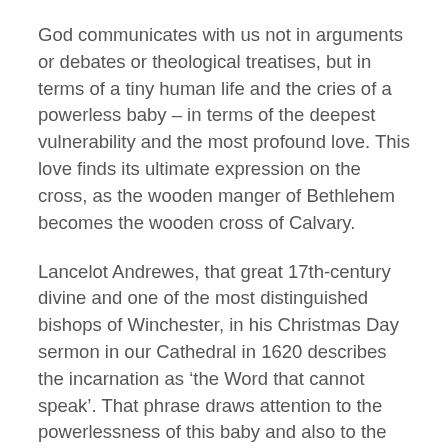God communicates with us not in arguments or debates or theological treatises, but in terms of a tiny human life and the cries of a powerless baby – in terms of the deepest vulnerability and the most profound love. This love finds its ultimate expression on the cross, as the wooden manger of Bethlehem becomes the wooden cross of Calvary.
Lancelot Andrewes, that great 17th-century divine and one of the most distinguished bishops of Winchester, in his Christmas Day sermon in our Cathedral in 1620 describes the incarnation as ‘the Word that cannot speak’. That phrase draws attention to the powerlessness of this baby and also to the power of this human life to be, the most complete expression of God beyond words that we can describe.
And Archbishop Rowan Williams has written of how ‘in a world of competition, frenzied chatter, control-